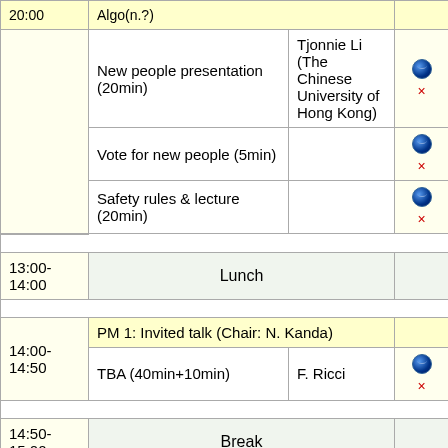| Time | Session | Speaker | Links |
| --- | --- | --- | --- |
|  | New people presentation (20min) | Tjonnie Li (The Chinese University of Hong Kong) | 🌐 × |
|  | Vote for new people (5min) |  | 🌐 × |
|  | Safety rules & lecture (20min) |  | 🌐 × |
| 13:00-14:00 | Lunch |  |  |
| 14:00-14:50 | PM 1: Invited talk (Chair: N. Kanda) |  |  |
|  | TBA (40min+10min) | F. Ricci | 🌐 × |
| 14:50-15:00 | Break |  |  |
| 15:00-16:25 | PM 2: Subsystem IV (Chair: A. Shoda) |  |  |